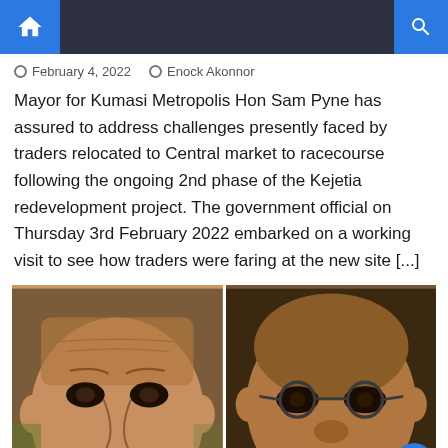Home | Search
February 4, 2022   Enock Akonnor
Mayor for Kumasi Metropolis Hon Sam Pyne has assured to address challenges presently faced by traders relocated to Central market to racecourse following the ongoing 2nd phase of the Kejetia redevelopment project. The government official on Thursday 3rd February 2022 embarked on a working visit to see how traders were faring at the new site [...]
[Figure (photo): Two side-by-side close-up facial photos of two African men, one younger on the left and one older wearing glasses on the right]
Privacy & Cookies Policy